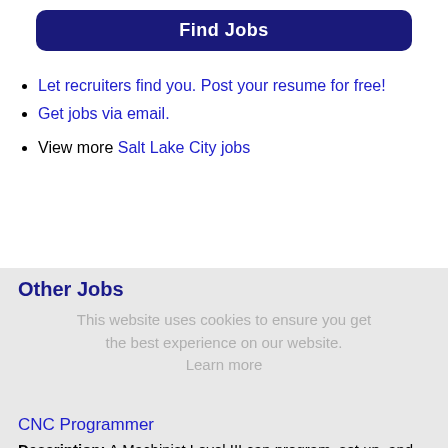Find Jobs
Let recruiters find you. Post your resume for free!
Get jobs via email.
View more Salt Lake City jobs
Other Jobs
This website uses cookies to ensure you get the best experience on our website. Learn more
CNC Programmer
Description: A Machinist Level III can program, set up, and run a range of machines using business resources. They are a craftsman who is accountable for their work's quality.Swing Shift Hours: Monday - Thursday 2:30 (more...)
Company: Central Valley Machine
Location: Logan